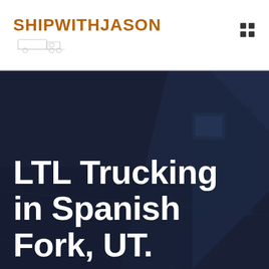SHIPWITHJASON
[Figure (illustration): Dark blue hero background showing a truck/freight scene with overlay]
LTL Trucking in Spanish Fork, UT.